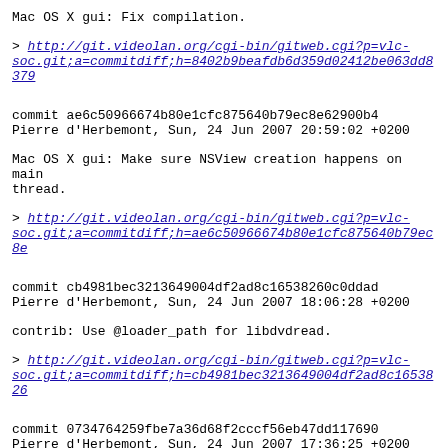Mac OS X gui: Fix compilation.
> http://git.videolan.org/cgi-bin/gitweb.cgi?p=vlc-soc.git;a=commitdiff;h=8402b9beafdb6d359d02412be063dd8379...
commit ae6c50966674b80e1cfc875640b79ec8e62900b4
Pierre d'Herbemont, Sun, 24 Jun 2007 20:59:02 +0200
Mac OS X gui: Make sure NSView creation happens on main thread.
> http://git.videolan.org/cgi-bin/gitweb.cgi?p=vlc-soc.git;a=commitdiff;h=ae6c50966674b80e1cfc875640b79ec8e...
commit cb4981bec3213649004df2ad8c16538260c0ddad
Pierre d'Herbemont, Sun, 24 Jun 2007 18:06:28 +0200
contrib: Use @loader_path for libdvdread.
> http://git.videolan.org/cgi-bin/gitweb.cgi?p=vlc-soc.git;a=commitdiff;h=cb4981bec3213649004df2ad8c1653826...
commit 0734764259fbe7a36d68f2cccf56eb47dd117690
Pierre d'Herbemont, Sun, 24 Jun 2007 17:36:25 +0200
Mac OS X Framework: Fix framework detection.